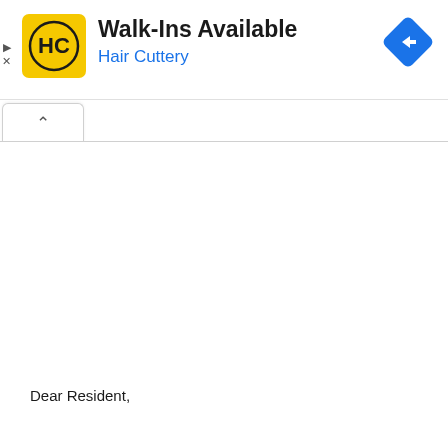[Figure (logo): Hair Cuttery advertisement banner with yellow HC logo, Walk-Ins Available text, Hair Cuttery subtitle in blue, and blue diamond navigation icon]
Dear Resident,